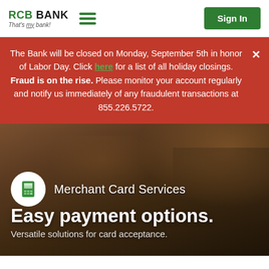RCB BANK That's my bank! [hamburger menu] [Sign In]
The Bank will be closed on Monday, September 5th in honor of Labor Day. Click here for a list of all holiday closings. Fraud is on the rise. Please monitor your account regularly and notify us immediately of any fraudulent transactions at 855.226.5722.
[Figure (illustration): Hero image showing a person handling a credit card transaction at a bakery/restaurant counter, with Merchant Card Services icon and text overlay]
Easy payment options.
Versatile solutions for card acceptance.